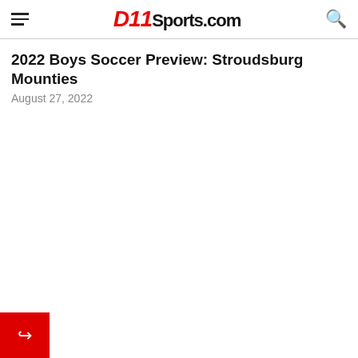D11Sports.com
2022 Boys Soccer Preview: Stroudsburg Mounties
August 27, 2022